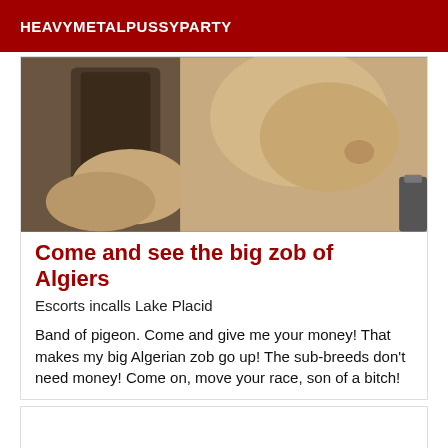HEAVYMETALPUSSYPARTY
[Figure (photo): Close-up photo showing bare torso/abs and what appears to be shoes or clothing items, warm beige/brown tones]
Come and see the big zob of Algiers
Escorts incalls Lake Placid
Band of pigeon. Come and give me your money! That makes my big Algerian zob go up! The sub-breeds don't need money! Come on, move your race, son of a bitch!